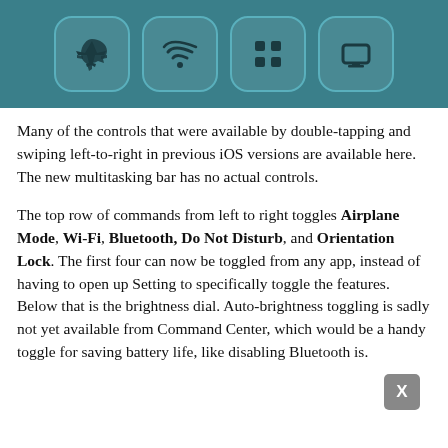[Figure (screenshot): iOS Control Center screenshot showing four icon buttons (Airplane Mode, Wi-Fi, Bluetooth, Do Not Disturb / Orientation Lock) on a teal background, partially cropped at top.]
Many of the controls that were available by double-tapping and swiping left-to-right in previous iOS versions are available here. The new multitasking bar has no actual controls.
The top row of commands from left to right toggles Airplane Mode, Wi-Fi, Bluetooth, Do Not Disturb, and Orientation Lock. The first four can now be toggled from any app, instead of having to open up Setting to specifically toggle the features. Below that is the brightness dial. Auto-brightness toggling is sadly not yet available from Command Center, which would be a handy toggle for saving battery life, like disabling Bluetooth is.